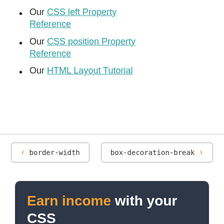Our CSS left Property Reference
Our CSS position Property Reference
Our HTML Layout Tutorial
< border-width
box-decoration-break >
Earn income with your CSS skills